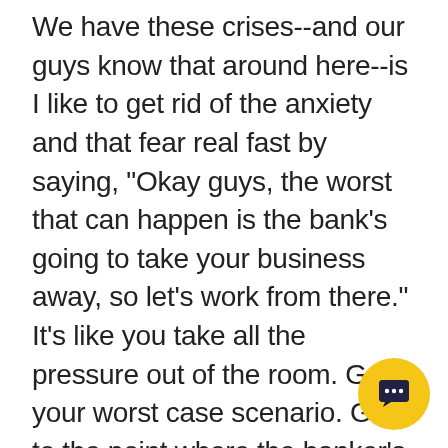We have these crises--and our guys know that around here--is I like to get rid of the anxiety and that fear real fast by saying, "Okay guys, the worst that can happen is the bank's going to take your business away, so let's work from there." It's like you take all the pressure out of the room. Go to your worst case scenario. Go to the point where the banker's gonna take the keys of the business. You're going to lose the business. Go to your worst nightmare and get it over with.Then bring your team together and say, "Okay, what do we need to do in order to make certain that we just don't have this nightmare? What can we right now? Can we cut spending down? Can we stretch it out a little bit longer? Can
[Figure (other): Yellow circular chat bubble button overlay in bottom-right corner]